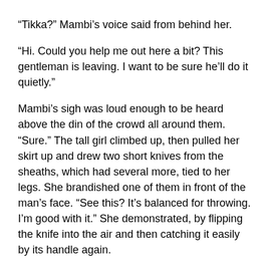“Tikka?” Mambi’s voice said from behind her.
“Hi. Could you help me out here a bit? This gentleman is leaving. I want to be sure he’ll do it quietly.”
Mambi’s sigh was loud enough to be heard above the din of the crowd all around them. “Sure.” The tall girl climbed up, then pulled her skirt up and drew two short knives from the sheaths, which had several more, tied to her legs. She brandished one of them in front of the man’s face. “See this? It’s balanced for throwing. I’m good with it.” She demonstrated, by flipping the knife into the air and then catching it easily by its handle again.
“See the goo on the blade,” she then asked. “Guess what it might be?”
The man couldn’t help looking, and he was a little bit...